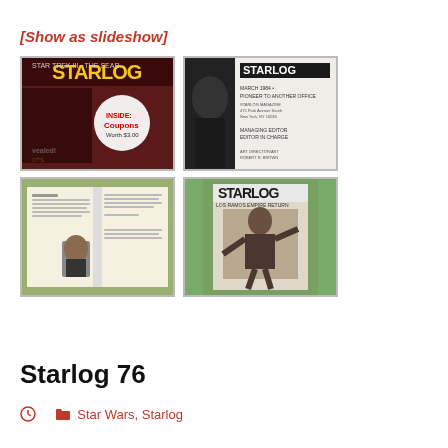[Show as slideshow]
[Figure (photo): Four thumbnail photos of Starlog magazine issues arranged in a 2x2 grid. Top-left: Starlog magazine cover with 'Star Trek III - The Search...' text and 'INSIDE: Coupons Worth $3.00' sticker. Top-right: Interior page of Starlog March 1984 with subscription information and a dark hooded figure. Bottom-left: Open spread of Starlog magazine showing a two-page article with a bearded man photo. Bottom-right: Starlog magazine cover featuring an action figure or movie character in a fighting pose.]
Starlog 76
Star Wars, Starlog